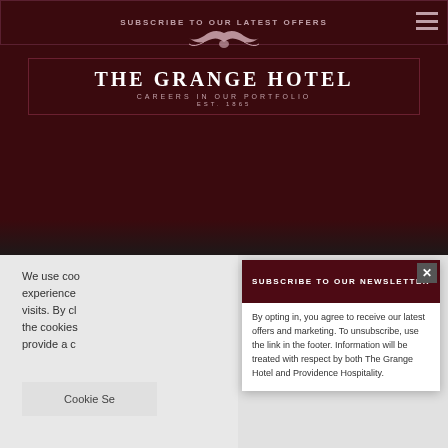SUBSCRIBE TO OUR LATEST OFFERS
THE GRANGE HOTEL
CAREERS IN OUR PORTFOLIO
EST. 1865
We use coo experience visits. By cl the cookies provide a c
Cookie Se
SUBSCRIBE TO OUR NEWSLETTER
By opting in, you agree to receive our latest offers and marketing. To unsubscribe, use the link in the footer. Information will be treated with respect by both The Grange Hotel and Providence Hospitality.